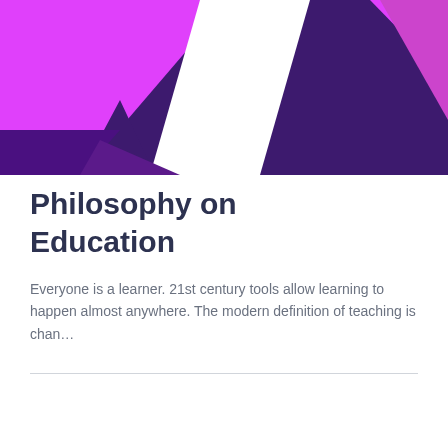[Figure (illustration): Abstract geometric design with triangles and diagonal bands in magenta/pink, purple, and dark purple/indigo colors on a white background]
Philosophy on Education
Everyone is a learner. 21st century tools allow learning to happen almost anywhere. The modern definition of teaching is chan…